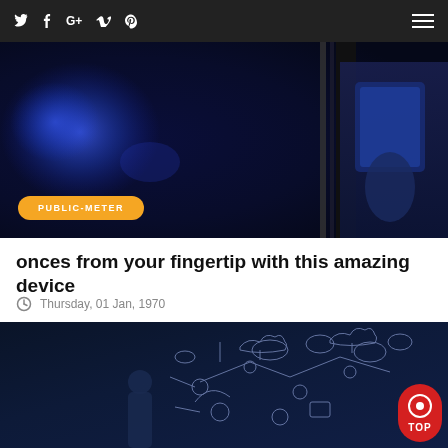Social icons: Twitter, Facebook, Google+, Vimeo, Pinterest | Hamburger menu
[Figure (photo): Dark blue photo of server room or tech environment with blue lighting and a person holding a tablet on the right side. Yellow badge reading PUBLIC-METER overlaid at bottom left.]
onces from your fingertip with this amazing device
Thursday, 01 Jan, 1970
[Figure (photo): Dark navy photo of a man standing in front of a chalkboard covered with cloud computing and tech diagrams. Red circular TOP button overlay at bottom right.]